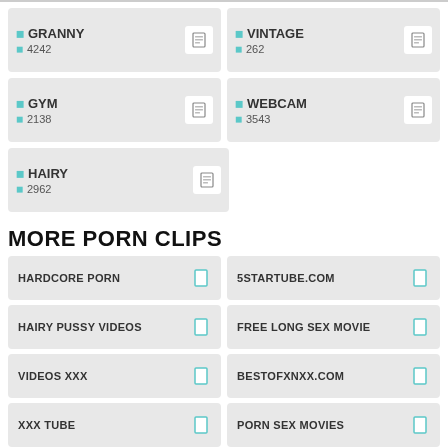GRANNY 4242
VINTAGE 262
GYM 2138
WEBCAM 3543
HAIRY 2962
MORE PORN CLIPS
HARDCORE PORN
5STARTUBE.COM
HAIRY PUSSY VIDEOS
FREE LONG SEX MOVIE
VIDEOS XXX
BESTOFXNXX.COM
XXX TUBE
PORN SEX MOVIES